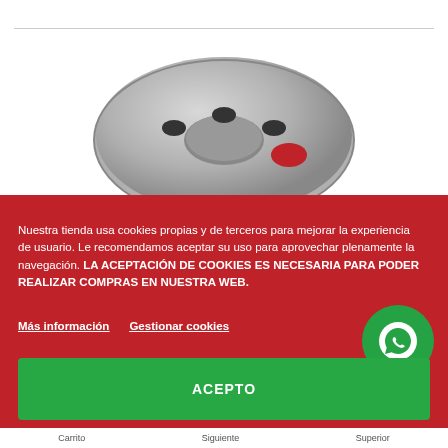[Figure (photo): Product photo showing a round metallic disc/brake rotor with holes, partially visible against a white background at the top, transitioning to a red background overlay with product image below]
Nuestra tienda usa cookies propias y de terceros para mejorar la experiencia de usuario. Le recomendamos aceptar su uso para aprovechar plenamente la navegación. LA ACEPTACIÓN DE COOKIES ES NECESARIA PARA PODER REALIZAR COMPRAS EN NUESTRA WEB.
Más información   Gestionar cookies
[Figure (logo): WhatsApp icon button (white phone handset on green circle background)]
ACEPTO
Carrito   Siguiente   Superior